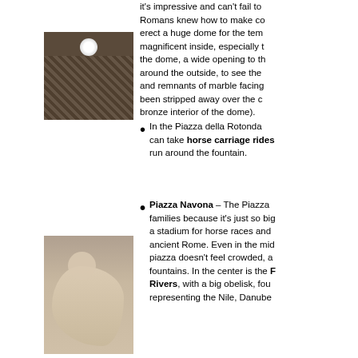[Figure (photo): Interior view of the Pantheon dome showing the oculus (circular opening at top) and coffered ceiling]
it's impressive and can't fail to ... Romans knew how to make co... erect a huge dome for the tem... magnificent inside, especially t... the dome, a wide opening to th... around the outside, to see the... and remnants of marble facing... been stripped away over the c... bronze interior of the dome).
In the Piazza della Rotonda ... can take horse carriage rides ... run around the fountain.
Piazza Navona – The Piazza ... families because it's just so big... a stadium for horse races and ... ancient Rome. Even in the mid... piazza doesn't feel crowded, a... fountains. In the center is the Fountain of the Four Rivers, with a big obelisk, four... representing the Nile, Danube...
[Figure (photo): Marble statue/fountain sculpture at Piazza Navona, showing baroque figures]